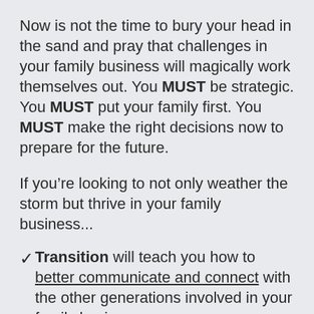Now is not the time to bury your head in the sand and pray that challenges in your family business will magically work themselves out. You MUST be strategic. You MUST put your family first. You MUST make the right decisions now to prepare for the future.
If you're looking to not only weather the storm but thrive in your family business...
Transition will teach you how to better communicate and connect with the other generations involved in your family business...
Transition will help you identify successful strategies for raising children with wealth